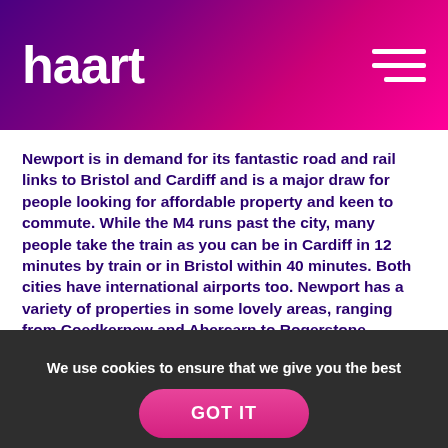haart
Newport is in demand for its fantastic road and rail links to Bristol and Cardiff and is a major draw for people looking for affordable property and keen to commute. While the M4 runs past the city, many people take the train as you can be in Cardiff in 12 minutes by train or in Bristol within 40 minutes. Both cities have international airports too. Newport has a variety of properties in some lovely areas, ranging from Coedkernew and Abercarn to Rogerstone, Malpas, and Castleton.
We use cookies to ensure that we give you the best experience on our website. Click here for more information or to manage your preferences.
GOT IT